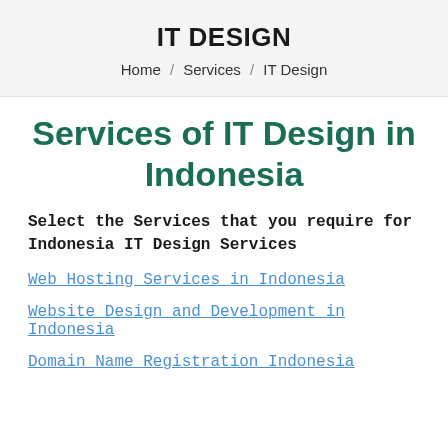IT DESIGN
Home / Services / IT Design
Services of IT Design in Indonesia
Select the Services that you require for Indonesia IT Design Services
Web Hosting Services in Indonesia
Website Design and Development in Indonesia
Domain Name Registration Indonesia